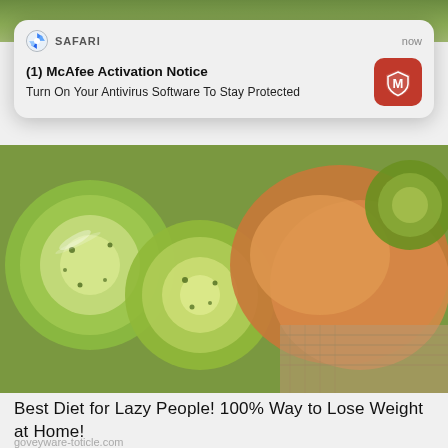[Figure (screenshot): Partial top strip of a green leafy background image]
[Figure (screenshot): iOS/Safari push notification banner showing McAfee Activation Notice with Safari icon, timestamp 'now', bold title '(1) McAfee Activation Notice', body text 'Turn On Your Antivirus Software To Stay Protected', and red McAfee shield icon on the right]
[Figure (photo): Close-up photo of sliced cucumbers/kiwi and other vegetables/fruits in green, orange, and red tones]
Best Diet for Lazy People! 100% Way to Lose Weight at Home!
goveyware-toticle.com
[Figure (photo): Partial bottom image showing a car or motorcycle dashboard/steering with green foliage background]